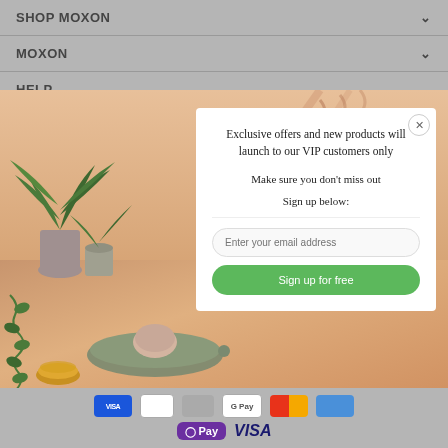SHOP MOXON
MOXON
[Figure (photo): Popup modal overlay on an e-commerce website showing a product lifestyle photo (plants, ceramic dish with bath ball, small yellow bowl on a warm peach/sandy background) with a white modal box containing email signup text and form]
Exclusive offers and new products will launch to our VIP customers only

Make sure you don't miss out

Sign up below:
Enter your email address
Sign up for free
[Figure (infographic): Row of payment method logos at bottom of page including blue card, outline card, gray card, GPay, Mastercard, Amex icons, then G Pay and Visa logos on second row]